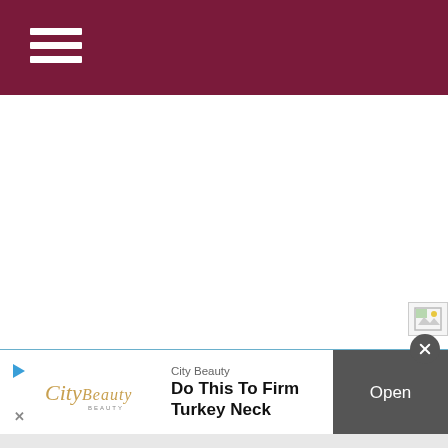[Figure (screenshot): Dark maroon/burgundy navigation header bar with hamburger menu (three horizontal white lines) on the left]
[Figure (screenshot): Broken image placeholder icon in the upper right area of white content area]
[Figure (screenshot): Advertisement banner for City Beauty: 'Do This To Firm Turkey Neck' with logo, close button, and Open button]
City Beauty
Do This To Firm Turkey Neck
Open